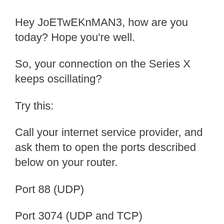Hey JoETwEKnMAN3, how are you today? Hope you're well.
So, your connection on the Series X keeps oscillating?
Try this:
Call your internet service provider, and ask them to open the ports described below on your router.
Port 88 (UDP)
Port 3074 (UDP and TCP)
Port 53 (UDP and TCP)